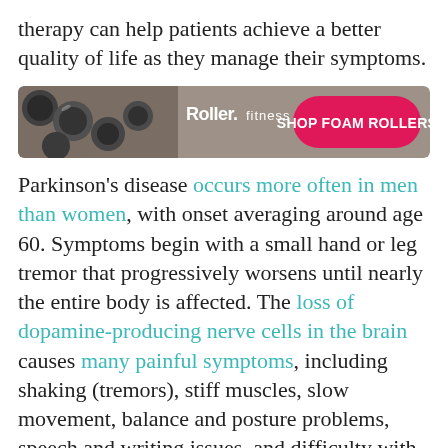therapy can help patients achieve a better quality of life as they manage their symptoms.
[Figure (other): Advertisement banner for Roller.fitness showing foam rollers with a pink 'SHOP FOAM ROLLERS' button]
Parkinson's disease occurs more often in men than women, with onset averaging around age 60. Symptoms begin with a small hand or leg tremor that progressively worsens until nearly the entire body is affected. The loss of dopamine-producing nerve cells in the brain causes many painful symptoms, including shaking (tremors), stiff muscles, slow movement, balance and posture problems, speech and writing issues, and difficulty with daily activities. Physical therapists—particularly those who are experienced in treating neurological disorders—manage these